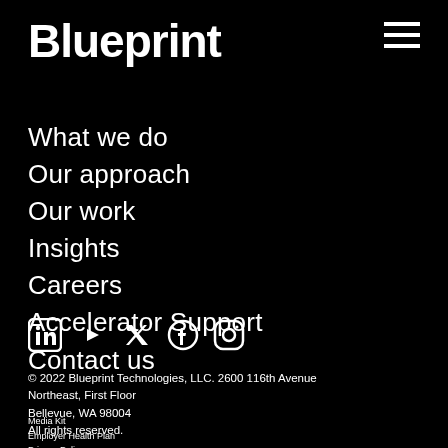Blueprint
What we do
Our approach
Our work
Insights
Careers
Accelerator Support
Contact us
[Figure (illustration): Social media icons: LinkedIn, YouTube, Twitter, Facebook, Instagram]
© 2022 Blueprint Technologies, LLC. 2600 116th Avenue Northeast, First Floor
Bellevue, WA 98004
All rights reserved.
Media Kit
Employer Health Plan
Privacy Policy